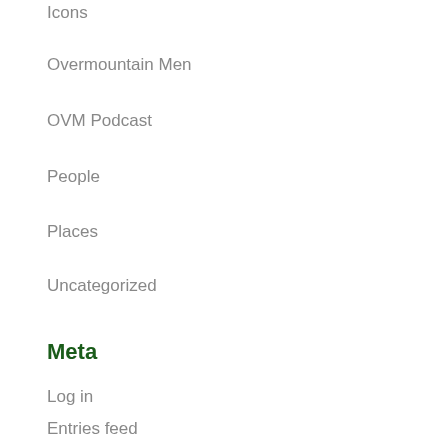Icons
Overmountain Men
OVM Podcast
People
Places
Uncategorized
Meta
Log in
Entries feed
Comments feed
WordPress.org